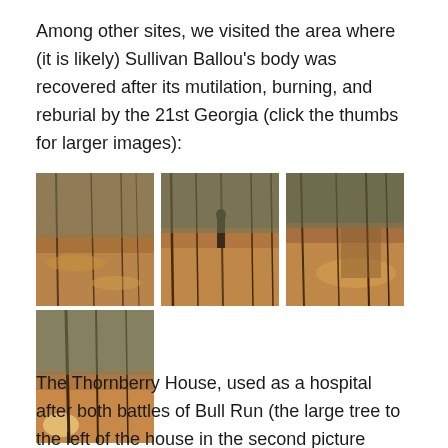Among other sites, we visited the area where (it is likely) Sullivan Ballou's body was recovered after its mutilation, burning, and reburial by the 21st Georgia (click the thumbs for larger images):
[Figure (photo): Photo of a wooded area with leaf-covered ground and bare trees]
[Figure (photo): Photo of a wooded path with a person standing among trees]
[Figure (photo): Photo of dense brush and trees with sunlit ground]
[Figure (photo): Photo of a wooded area with trees and sunlit ground]
The Thornberry House, used as a hospital after both battles of Bull Run (the large tree to the left of the house in the second picture appears on the Barnard photo from